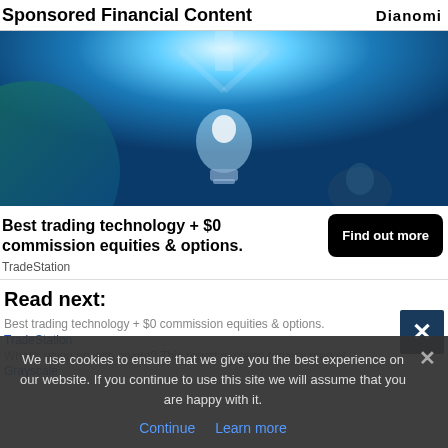Sponsored Financial Content | Dianomi
[Figure (photo): A glowing blue light bulb against a dark blue background, radiating bright light from the top.]
Best trading technology + $0 commission equities & options.
TradeStation
Read next:
Best trading technology + $0 commission equities & options.
TradeStation
What's going on with crypto? This report explains today's market
Grayscale
We use cookies to ensure that we give you the best experience on our website. If you continue to use this site we will assume that you are happy with it.
Continue  Learn more